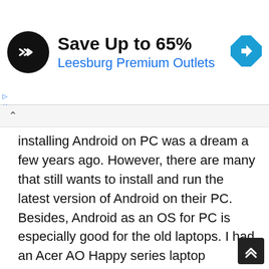[Figure (infographic): Advertisement banner: circular black logo with two overlapping arrow chevrons, text 'Save Up to 65%' in bold black and 'Leesburg Premium Outlets' in blue, with a blue diamond navigation icon on the right]
installing Android on PC was a dream a few years ago. However, there are many that still wants to install and run the latest version of Android on their PC. Besides, Android as an OS for PC is especially good for the old laptops. I had an Acer AO Happy series laptop powered by an Intel Atom Processor (Single Core 1.8GHz) bought in 2010. It struggled to run Windows 7 or a Linux version. Therefore, It was discarded a few years back but the recently I decided to make it usable